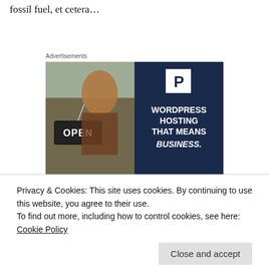fossil fuel, et cetera…
Advertisements
[Figure (photo): Advertisement for WordPress Hosting showing a smiling woman holding an OPEN sign, with dark blue panel showing a P logo and text: WORDPRESS HOSTING THAT MEANS BUSINESS.]
Privacy & Cookies: This site uses cookies. By continuing to use this website, you agree to their use.
To find out more, including how to control cookies, see here: Cookie Policy
Close and accept
inductive reasoning, and pseudoscience that end up